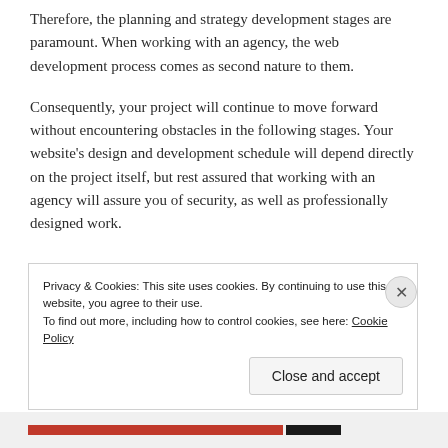Therefore, the planning and strategy development stages are paramount. When working with an agency, the web development process comes as second nature to them.
Consequently, your project will continue to move forward without encountering obstacles in the following stages. Your website’s design and development schedule will depend directly on the project itself, but rest assured that working with an agency will assure you of security, as well as professionally designed work.
Privacy & Cookies: This site uses cookies. By continuing to use this website, you agree to their use.
To find out more, including how to control cookies, see here: Cookie Policy